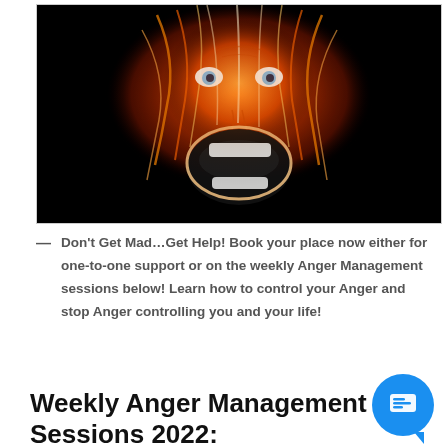[Figure (illustration): A dramatic digital art image of an angry screaming face with glowing orange/red flame-like streaks on a black background. The face appears distorted with wide open mouth and intense eyes.]
Don't Get Mad…Get Help! Book your place now either for one-to-one support or on the weekly Anger Management sessions below! Learn how to control your Anger and stop Anger controlling you and your life!
Weekly Anger Management Sessions 2022: